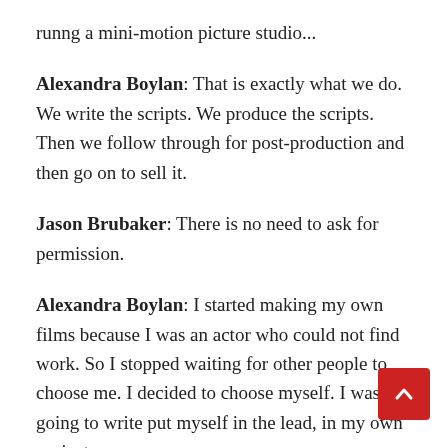runng a mini-motion picture studio...
Alexandra Boylan: That is exactly what we do. We write the scripts. We produce the scripts. Then we follow through for post-production and then go on to sell it.
Jason Brubaker: There is no need to ask for permission.
Alexandra Boylan: I started making my own films because I was an actor who could not find work. So I stopped waiting for other people to choose me. I decided to choose myself. I was going to write put myself in the lead, in my own project.